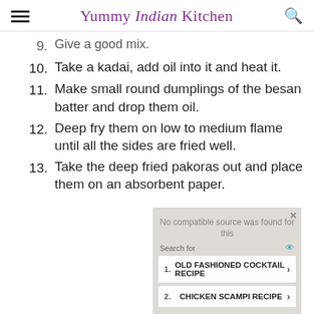Yummy Indian Kitchen
9. Give a good mix.
10. Take a kadai, add oil into it and heat it.
11. Make small round dumplings of the besan batter and drop them oil.
12. Deep fry them on low to medium flame until all the sides are fried well.
13. Take the deep fried pakoras out and place them on an absorbent paper.